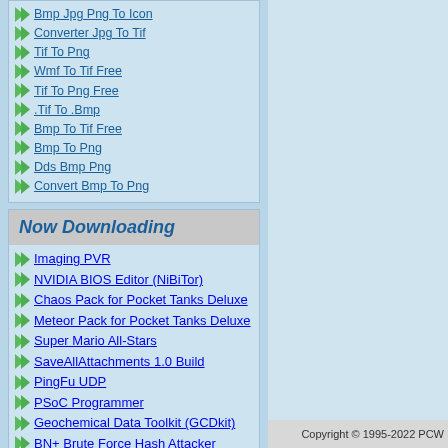Bmp Jpg Png To Icon
Converter Jpg To Tif
Tif To Png
Wmf To Tif Free
Tif To Png Free
.Tif To .Bmp
Bmp To Tif Free
Bmp To Png
Dds Bmp Png
Convert Bmp To Png
Now Downloading
Imaging PVR
NVIDIA BIOS Editor (NiBiTor)
Chaos Pack for Pocket Tanks Deluxe
Meteor Pack for Pocket Tanks Deluxe
Super Mario All-Stars
SaveAllAttachments 1.0 Build
PingFu UDP
PSoC Programmer
Geochemical Data Toolkit (GCDkit)
BN+ Brute Force Hash Attacker
Copyright © 1995-2022 PCW